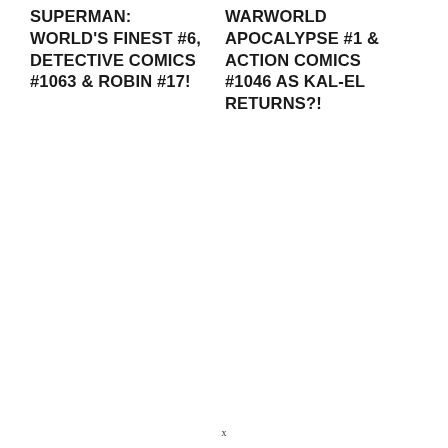SUPERMAN: WORLD'S FINEST #6, DETECTIVE COMICS #1063 & ROBIN #17!
WARWORLD APOCALYPSE #1 & ACTION COMICS #1046 AS KAL-EL RETURNS?!
x